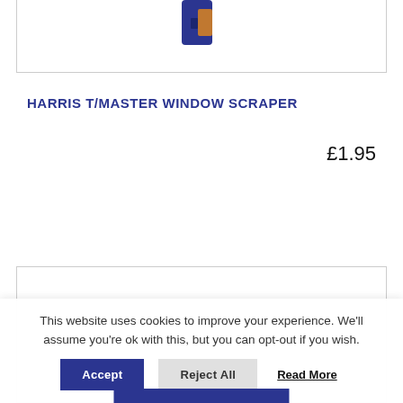[Figure (photo): Partial view of a product (window scraper) image at the top of a product card, showing blue and orange coloring.]
HARRIS T/MASTER WINDOW SCRAPER
£1.95
Add to basket
[Figure (photo): Partial view of a second product card showing a small grey/white rectangular product image.]
This website uses cookies to improve your experience. We'll assume you're ok with this, but you can opt-out if you wish.
Accept
Reject All
Read More